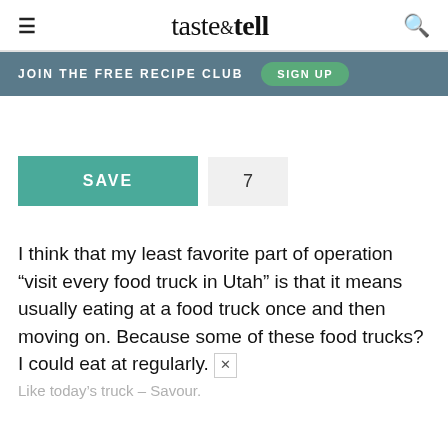taste & tell
JOIN THE FREE RECIPE CLUB  SIGN UP
[Figure (other): SAVE button with count 7]
I think that my least favorite part of operation “visit every food truck in Utah” is that it means usually eating at a food truck once and then moving on. Because some of these food trucks? I could eat at regularly.
Like today’s truck – Savour.